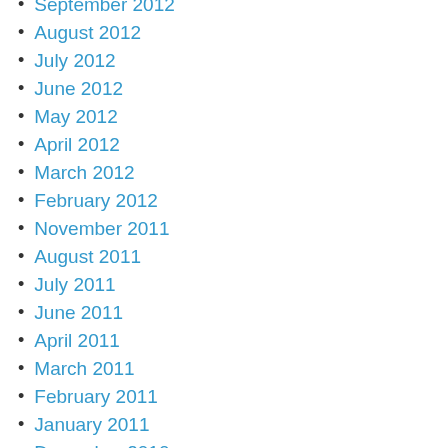September 2012
August 2012
July 2012
June 2012
May 2012
April 2012
March 2012
February 2012
November 2011
August 2011
July 2011
June 2011
April 2011
March 2011
February 2011
January 2011
December 2010